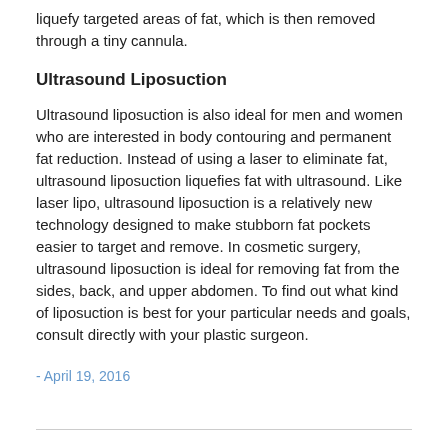liquefy targeted areas of fat, which is then removed through a tiny cannula.
Ultrasound Liposuction
Ultrasound liposuction is also ideal for men and women who are interested in body contouring and permanent fat reduction. Instead of using a laser to eliminate fat, ultrasound liposuction liquefies fat with ultrasound. Like laser lipo, ultrasound liposuction is a relatively new technology designed to make stubborn fat pockets easier to target and remove. In cosmetic surgery, ultrasound liposuction is ideal for removing fat from the sides, back, and upper abdomen. To find out what kind of liposuction is best for your particular needs and goals, consult directly with your plastic surgeon.
- April 19, 2016